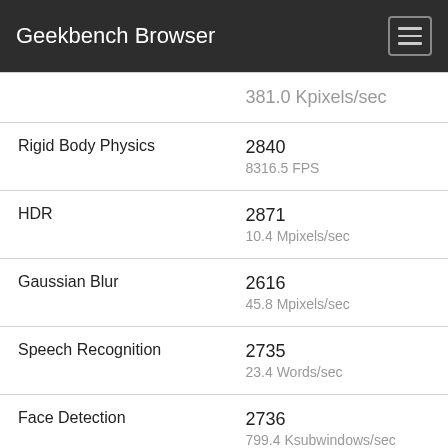Geekbench Browser
| Benchmark | Score / Unit |
| --- | --- |
| (partial top row) | 381.0 Kpixels/sec |
| Rigid Body Physics | 2840
8316.5 FPS |
| HDR | 2871
10.4 Mpixels/sec |
| Gaussian Blur | 2616
45.8 Mpixels/sec |
| Speech Recognition | 2735
23.4 Words/sec |
| Face Detection | 2736
799.4 Ksubwindows/sec |
| Memory Copy | 3414
9.46 GB/sec |
| Memory Latency | 5162
83.9 ns |
| Memory Bandwidth | 3318
17.7 GB/sec |